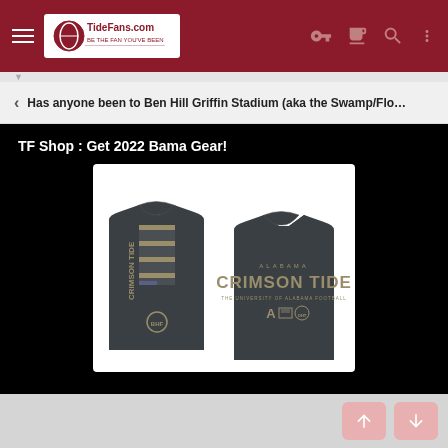TideFans.com
Has anyone been to Ben Hill Griffin Stadium (aka the Swamp/Florida) fo
TF Shop : Get 2022 Bama Gear!
[Figure (photo): Alabama Crimson Tide t-shirt showing front and back. Back has vertical 'CRIMSON TIDE' text with an American flag design. Front shows 'ALABAMA CRIMSON TIDE' text with team logos.]